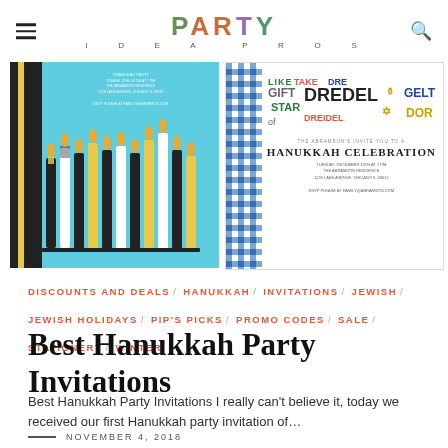PARTY IDEA PROS
[Figure (photo): Two Hanukkah party invitation cards side by side. Left: teal background with striped candles design. Right: Hanukkah celebration invitation with blue gingham border and colorful word collage.]
DISCOUNTS AND DEALS / HANUKKAH / INVITATIONS / JEWISH / JEWISH HOLIDAYS / PIP'S PICKS / PROMO CODES / SALE / STATIONERY / WINTER
Best Hanukkah Party Invitations
Best Hanukkah Party Invitations I really can't believe it, today we received our first Hanukkah party invitation of…
NOVEMBER 4, 2018